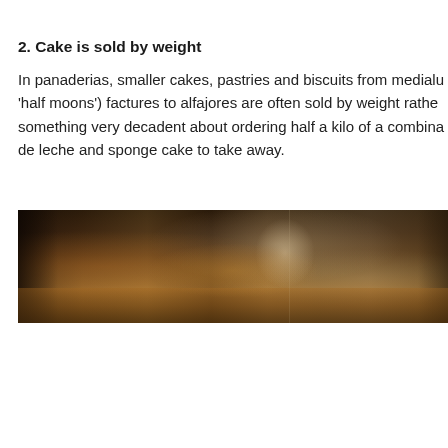2. Cake is sold by weight
In panaderias, smaller cakes, pastries and biscuits from medialu 'half moons') factures to alfajores are often sold by weight rathe something very decadent about ordering half a kilo of a combina de leche and sponge cake to take away.
[Figure (photo): Panoramic photo of the interior of a bakery (panaderia), showing display cases, baked goods, and shop interior with warm lighting.]